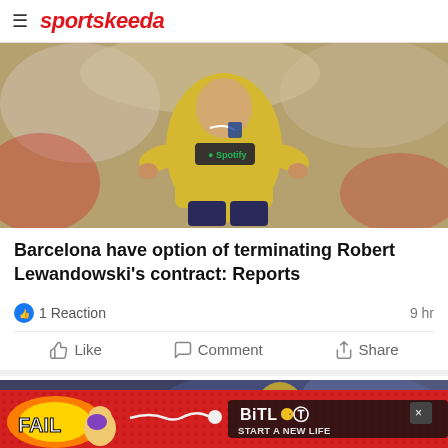sportskeeda
[Figure (photo): Robert Lewandowski in Barcelona away yellow Spotify jersey running on pitch]
Barcelona have option of terminating Robert Lewandowski's contract: Reports
1 Reaction   9 hr
Like   Comment   Share
[Figure (photo): Sportskeeda article thumbnail showing a footballer, with SK logo overlay]
[Figure (other): BitLife advertisement banner - FAIL START A NEW LIFE]